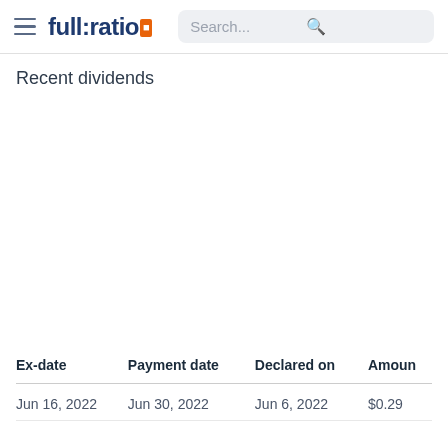full:ratio | Search...
Recent dividends
| Ex-date | Payment date | Declared on | Amoun |
| --- | --- | --- | --- |
| Jun 16, 2022 | Jun 30, 2022 | Jun 6, 2022 | $0.29 |